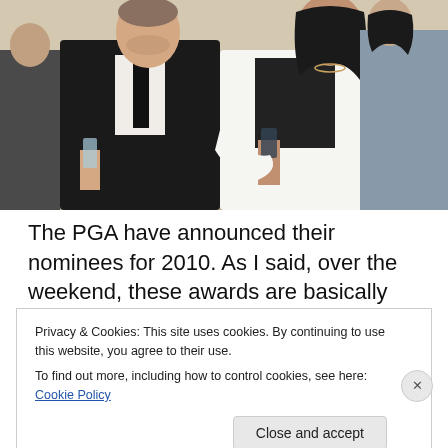[Figure (photo): Two people at a formal event. A man in a black suit with a black tie holds a glass, and a woman in a black top with a white jacket also holds a glass. Another person is visible in the background on the right.]
The PGA have announced their nominees for 2010. As I said, over the weekend, these awards are basically the
Privacy & Cookies: This site uses cookies. By continuing to use this website, you agree to their use.
To find out more, including how to control cookies, see here: Cookie Policy